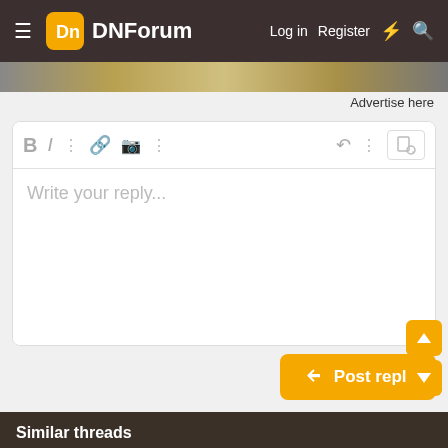DNForum  Log in  Register
Advertise here
[Figure (screenshot): Text editor / reply box with formatting toolbar (Bold, Italic, link, image, more options, undo, preview) and placeholder text 'Write your reply...']
Post reply
Similar threads
Sports enthusiast... domains ideas.
Andre107 · General Domain Name Discussion
Replies: 3 · Aug 10, 2022